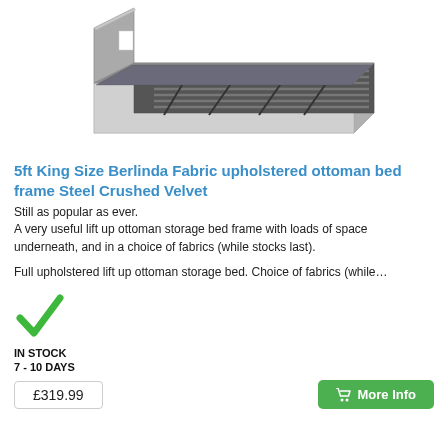[Figure (photo): Gray crushed velvet ottoman storage bed frame with lift-up slatted base shown open, revealing storage space underneath. The bed has a padded headboard and a chunky fabric-covered frame.]
5ft King Size Berlinda Fabric upholstered ottoman bed frame Steel Crushed Velvet
Still as popular as ever.
A very useful lift up ottoman storage bed frame with loads of space underneath, and in a choice of fabrics (while stocks last).
Full upholstered lift up ottoman storage bed. Choice of fabrics (while…
[Figure (illustration): Green checkmark tick symbol indicating in stock status]
IN STOCK
7 - 10 DAYS
£319.99
More Info